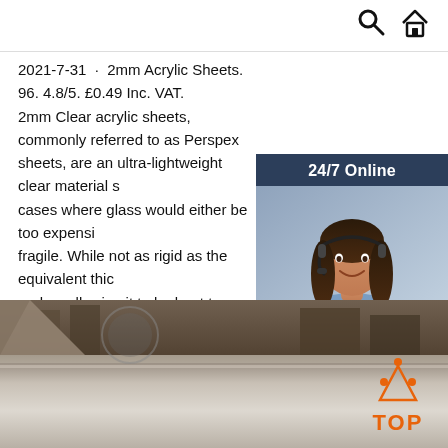Search | Home
2021-7-31 · 2mm Acrylic Sheets. 96. 4.8/5. £0.49 Inc. VAT. 2mm Clear acrylic sheets, commonly referred to as Perspex sheets, are an ultra-lightweight clear material s... cases where glass would either be too expensi... fragile. While not as rigid as the equivalent thic... and so allowing it to be bent to shape simply b...
[Figure (photo): Customer service representative wearing headset, smiling, with 24/7 Online chat widget overlay, dark blue background, and orange QUOTATION button]
[Figure (photo): Workshop or factory floor with sheet material on a table or surface, bottom portion of page]
[Figure (infographic): Orange TOP badge with house/triangle icon made of dots, orange color]